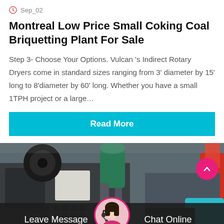Sep_02
Montreal Low Price Small Coking Coal Briquetting Plant For Sale
Step 3- Choose Your Options. Vulcan 's Indirect Rotary Dryers come in standard sizes ranging from 3' diameter by 15' long to 8'diameter by 60' long. Whether you have a small 1TPH project or a large…
Read More
[Figure (photo): Industrial coal briquetting plant machinery with heavy metal rollers and equipment in a factory setting]
Leave Message
Chat Online